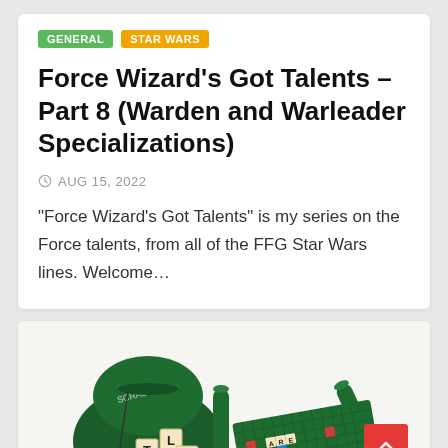GENERAL
STAR WARS
Force Wizard's Got Talents – Part 8 (Warden and Warleader Specializations)
AUG 15, 2022
“Force Wizard’s Got Talents” is my series on the Force talents, from all of the FFG Star Wars lines. Welcome…
[Figure (photo): Photo of a travel Scrabble game set showing a green drawstring bag with Scrabble tiles spilling out, green tile racks, and a green folding game board with colorful squares and tiles placed on it.]